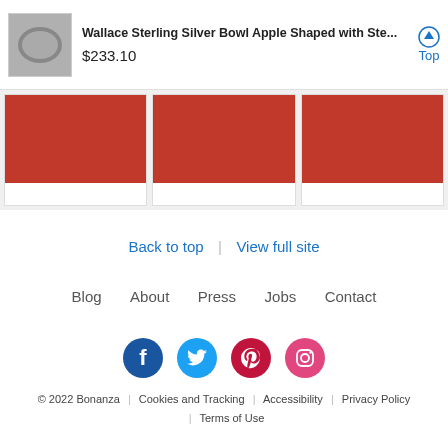Wallace Sterling Silver Bowl Apple Shaped with Ste... $233.10
[Figure (photo): Three product images with red backgrounds in a horizontal strip]
Back to top | View full site
Blog   About   Press   Jobs   Contact
[Figure (infographic): Social media icons: Facebook, Twitter, Pinterest, Instagram]
© 2022 Bonanza | Cookies and Tracking | Accessibility | Privacy Policy | Terms of Use